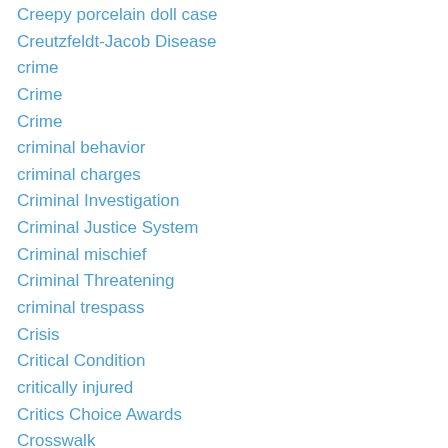Creepy porcelain doll case
Creutzfeldt-Jacob Disease
crime
Crime
Crime
criminal behavior
criminal charges
Criminal Investigation
Criminal Justice System
Criminal mischief
Criminal Threatening
criminal trespass
Crisis
Critical Condition
critically injured
Critics Choice Awards
Crosswalk
cruelty charges
cruelty to a child
cruelty to children